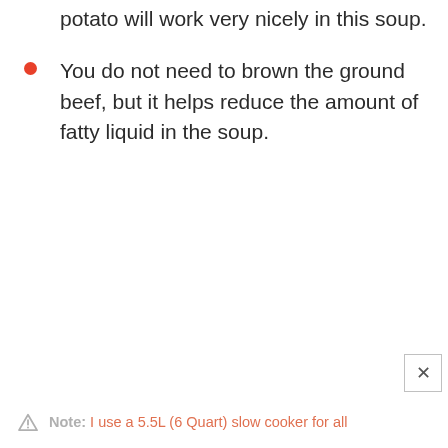potato will work very nicely in this soup.
You do not need to brown the ground beef, but it helps reduce the amount of fatty liquid in the soup.
⚠ Note: I use a 5.5L (6 Quart) slow cooker for all